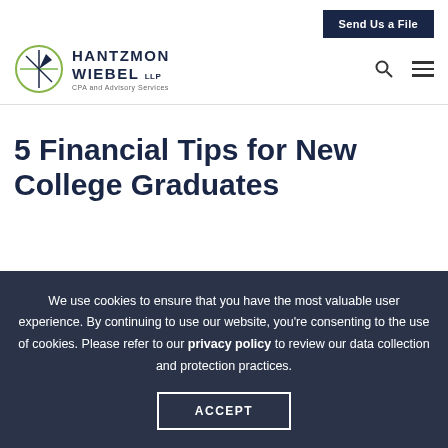[Figure (logo): Hantzmon Wiebel LLP CPA and Advisory Services logo with circular arrow emblem]
Send Us a File
5 Financial Tips for New College Graduates
We use cookies to ensure that you have the most valuable user experience. By continuing to use our website, you're consenting to the use of cookies. Please refer to our privacy policy to review our data collection and protection practices.
ACCEPT